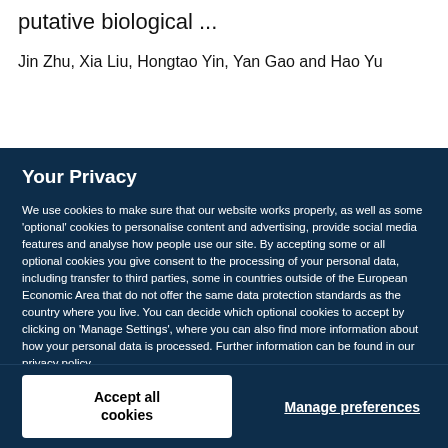putative biological ...
Jin Zhu, Xia Liu, Hongtao Yin, Yan Gao and Hao Yu
Your Privacy
We use cookies to make sure that our website works properly, as well as some 'optional' cookies to personalise content and advertising, provide social media features and analyse how people use our site. By accepting some or all optional cookies you give consent to the processing of your personal data, including transfer to third parties, some in countries outside of the European Economic Area that do not offer the same data protection standards as the country where you live. You can decide which optional cookies to accept by clicking on 'Manage Settings', where you can also find more information about how your personal data is processed. Further information can be found in our privacy policy.
Accept all cookies
Manage preferences